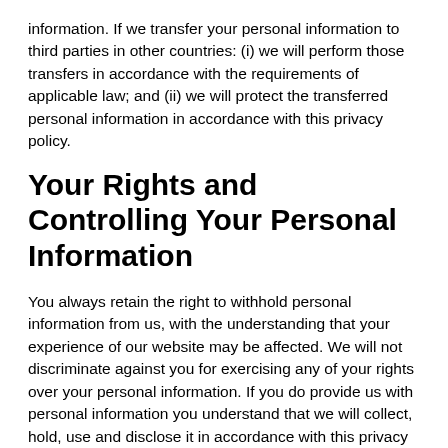information. If we transfer your personal information to third parties in other countries: (i) we will perform those transfers in accordance with the requirements of applicable law; and (ii) we will protect the transferred personal information in accordance with this privacy policy.
Your Rights and Controlling Your Personal Information
You always retain the right to withhold personal information from us, with the understanding that your experience of our website may be affected. We will not discriminate against you for exercising any of your rights over your personal information. If you do provide us with personal information you understand that we will collect, hold, use and disclose it in accordance with this privacy policy. You retain the right to request details of any personal information we hold about you.